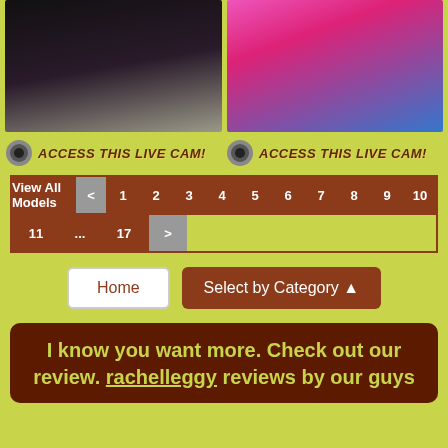[Figure (photo): Two photos side by side: left shows a woman in black bikini, right shows a woman in pink dress outdoors]
ACCESS THIS LIVE CAM! ACCESS THIS LIVE CAM!
View All Models < 1 2 3 4 5 6 7 8 9 10 11 ... 17 >
Home   Select by Category
I know you want more. Check out our review. rachelleggy reviews by our guys